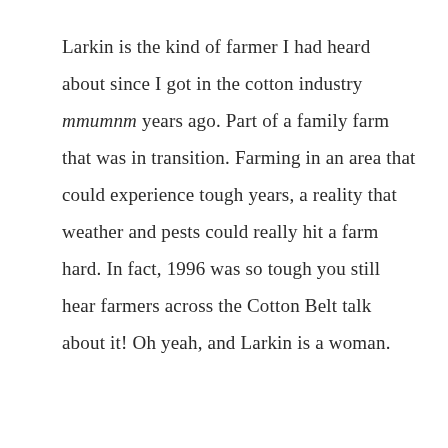Larkin is the kind of farmer I had heard about since I got in the cotton industry mmumnm years ago. Part of a family farm that was in transition. Farming in an area that could experience tough years, a reality that weather and pests could really hit a farm hard. In fact, 1996 was so tough you still hear farmers across the Cotton Belt talk about it! Oh yeah, and Larkin is a woman.